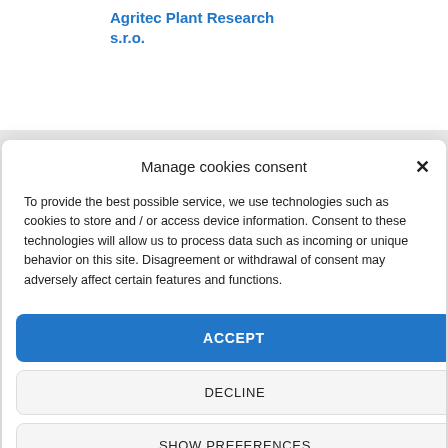Agritec Plant Research s.r.o.
Manage cookies consent
To provide the best possible service, we use technologies such as cookies to store and / or access device information. Consent to these technologies will allow us to process data such as incoming or unique behavior on this site. Disagreement or withdrawal of consent may adversely affect certain features and functions.
ACCEPT
DECLINE
SHOW PREFERENCES